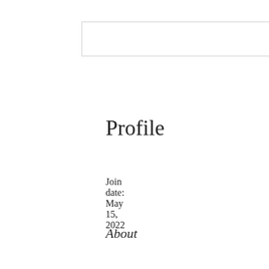Profile
Join date: May 15, 2022
About
Online poker odds calculator free download
Online poker odds calculator free download
[Figure (photo): Blurred image of people playing poker, with teal and green tones]